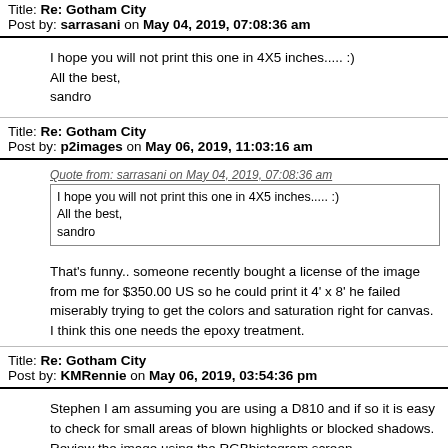Title: Re: Gotham City
Post by: sarrasani on May 04, 2019, 07:08:36 am
I hope you will not print this one in 4X5 inches..... :)
All the best,
sandro
Title: Re: Gotham City
Post by: p2images on May 06, 2019, 11:03:16 am
Quote from: sarrasani on May 04, 2019, 07:08:36 am
I hope you will not print this one in 4X5 inches..... :)
All the best,
sandro
That's funny.. someone recently bought a license of the image from me for $350.00 US so he could print it 4' x 8' he failed miserably trying to get the colors and saturation right for canvas. I think this one needs the epoxy treatment.
Title: Re: Gotham City
Post by: KMRennie on May 06, 2019, 03:54:36 pm
Stephen I am assuming you are using a D810 and if so it is easy to check for small areas of blown highlights or blocked shadows. Review the image using the RGBhistogram screen,